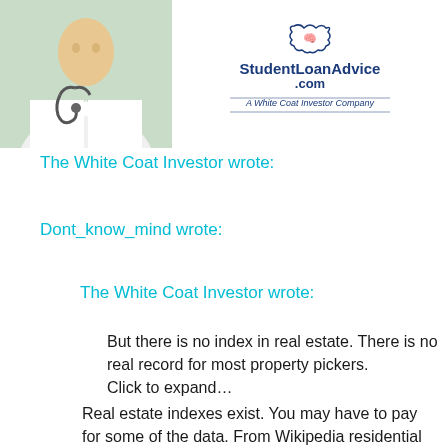[Figure (photo): Doctor in white coat with stethoscope on left; StudentLoanAdvice.com logo on right with tagline 'A White Coat Investor Company']
The White Coat Investor wrote:
Dont_know_mind wrote:
The White Coat Investor wrote:
But there is no index in real estate. There is no real record for most property pickers.
Click to expand…
Real estate indexes exist. You may have to pay for some of the data. From Wikipedia residential RE indexes: